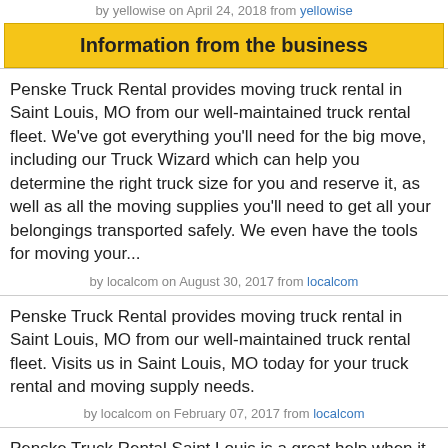by yellowise on April 24, 2018 from yellowise
Information from the business
Penske Truck Rental provides moving truck rental in Saint Louis, MO from our well-maintained truck rental fleet. We've got everything you'll need for the big move, including our Truck Wizard which can help you determine the right truck size for you and reserve it, as well as all the moving supplies you'll need to get all your belongings transported safely. We even have the tools for moving your...
by localcom on August 30, 2017 from localcom
Penske Truck Rental provides moving truck rental in Saint Louis, MO from our well-maintained truck rental fleet. Visits us in Saint Louis, MO today for your truck rental and moving supply needs.
by localcom on February 07, 2017 from localcom
Penske Truck Rental Saint Louis is a great help when it comes to moving, packing, and relocating. The services offered are of the highest standard and quality. Located in Saint Louis on 2616 Brannon Avenue, makes sure every client can meet with a representative and can have access to the services offered and takes advantage of the offered